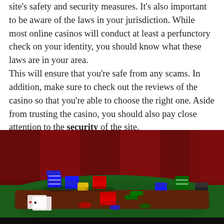site's safety and security measures. It's also important to be aware of the laws in your jurisdiction. While most online casinos will conduct at least a perfunctory check on your identity, you should know what these laws are in your area. This will ensure that you're safe from any scams. In addition, make sure to check out the reviews of the casino so that you're able to choose the right one. Aside from trusting the casino, you should also pay close attention to the security of the site.
[Figure (photo): Casino chips of various colors (blue, red, green, yellow, black) stacked on a green and red casino table with playing cards, against a dark red background.]